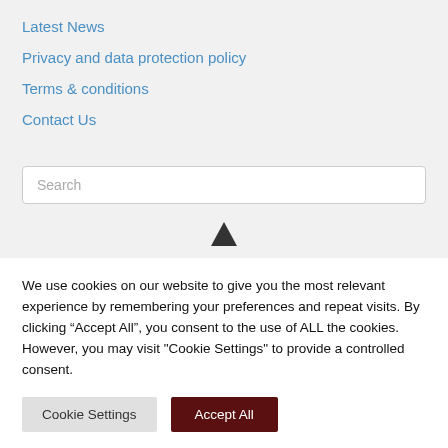Latest News
Privacy and data protection policy
Terms & conditions
Contact Us
Search
[Figure (illustration): Upward pointing triangle/arrow icon in dark color, centered on the page divider area]
We use cookies on our website to give you the most relevant experience by remembering your preferences and repeat visits. By clicking “Accept All”, you consent to the use of ALL the cookies. However, you may visit "Cookie Settings" to provide a controlled consent.
Cookie Settings
Accept All